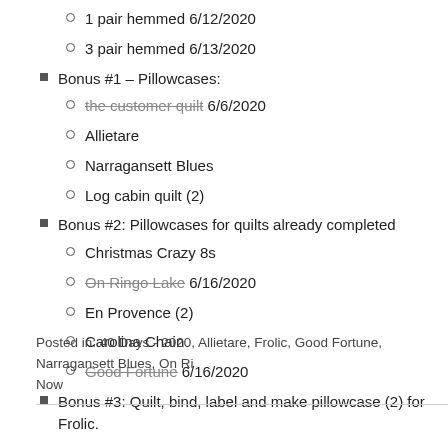1 pair hemmed 6/12/2020
3 pair hemmed 6/13/2020
Bonus #1 – Pillowcases:
the customer quilt 6/6/2020 [strikethrough: the customer quilt]
Allietare
Narragansett Blues
Log cabin quilt (2)
Bonus #2: Pillowcases for quilts already completed
Christmas Crazy 8s
On Ringo Lake 6/16/2020 [strikethrough: On Ringo Lake]
En Provence (2)
Carolina Chain
Good Fortune 6/16/2020 [strikethrough: Good Fortune]
Bonus #3: Quilt, bind, label and make pillowcase (2) for Frolic.
Posted in: 40 Days - 2020, Allietare, Frolic, Good Fortune, Narragansett Blues, On Ri... Now